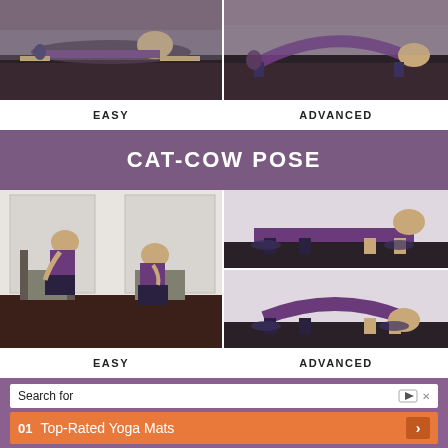[Figure (photo): Two photos side by side showing yoga pose - easy version (person lying on mat) on left, advanced version (person in bridge-like pose) on right]
EASY
ADVANCED
CAT-COW POSE
[Figure (photo): Left: Two seated chair yoga cat-cow poses (easy). Right top: person on mat in cow pose. Right bottom: person on mat in cat pose (advanced).]
EASY
ADVANCED
[Figure (screenshot): Advertisement: Search for Top-Rated Yoga Mats with orange result bar showing '01 Top-Rated Yoga Mats' and a play icon]